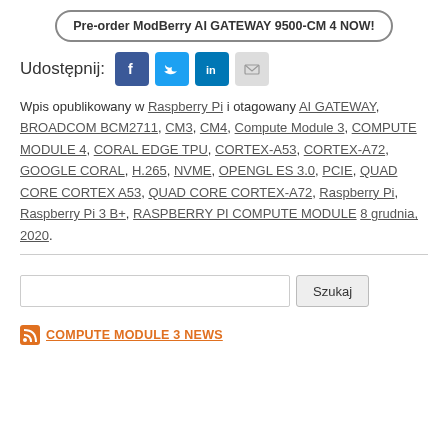Pre-order ModBerry AI GATEWAY 9500-CM4 NOW!
[Figure (other): Social share icons: Udostępnij: Facebook, Twitter, LinkedIn, Email]
Wpis opublikowany w Raspberry Pi i otagowany AI GATEWAY, BROADCOM BCM2711, CM3, CM4, Compute Module 3, COMPUTE MODULE 4, CORAL EDGE TPU, CORTEX-A53, CORTEX-A72, GOOGLE CORAL, H.265, NVME, OPENGL ES 3.0, PCIE, QUAD CORE CORTEX A53, QUAD CORE CORTEX-A72, Raspberry Pi, Raspberry Pi 3 B+, RASPBERRY PI COMPUTE MODULE 8 grudnia, 2020.
Szukaj
COMPUTE MODULE 3 NEWS